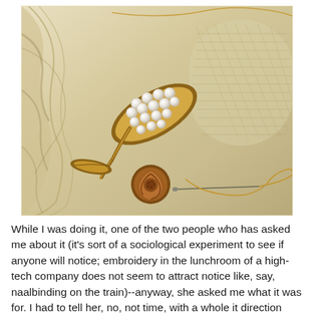[Figure (photo): Close-up photograph of embroidery on cream/ivory fabric, showing gold thread work with a leaf-shaped motif filled with white pearls/beads, a textured circular lace-like pattern, a small crocheted rose or bullion knot flower in gold-brown thread, and a needle with gold thread trailing across the fabric.]
While I was doing it, one of the two people who has asked me about it (it's sort of a sociological experiment to see if anyone will notice; embroidery in the lunchroom of a high-tech company does not seem to attract notice like, say, naalbinding on the train)--anyway, she asked me what it was for. I had to tell her, no, not time, with a whole it direction